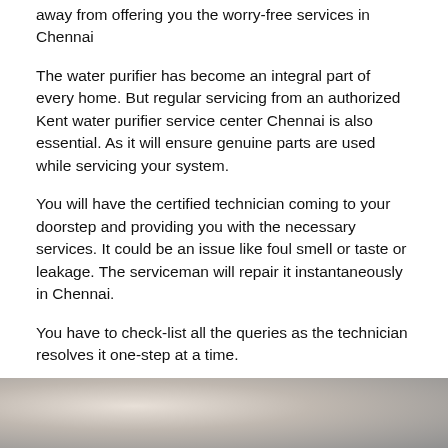away from offering you the worry-free services in Chennai
The water purifier has become an integral part of every home. But regular servicing from an authorized Kent water purifier service center Chennai is also essential. As it will ensure genuine parts are used while servicing your system.
You will have the certified technician coming to your doorstep and providing you with the necessary services. It could be an issue like foul smell or taste or leakage. The serviceman will repair it instantaneously in Chennai.
You have to check-list all the queries as the technician resolves it one-step at a time.
Looking for RO Service, RO Repair & RO Installation Service Provider Near by Me
[Figure (photo): Partial view of a photo at the bottom of the page showing a person, likely a technician]